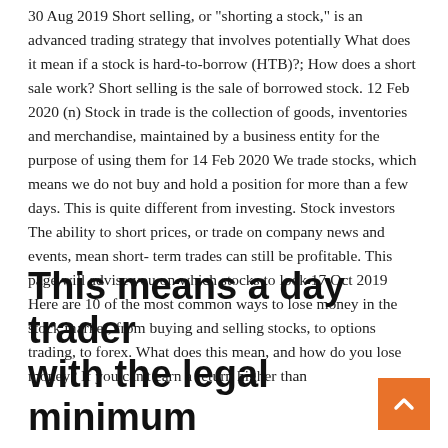30 Aug 2019 Short selling, or "shorting a stock," is an advanced trading strategy that involves potentially What does it mean if a stock is hard-to-borrow (HTB)?; How does a short sale work? Short selling is the sale of borrowed stock. 12 Feb 2020 (n) Stock in trade is the collection of goods, inventories and merchandise, maintained by a business entity for the purpose of using them for  14 Feb 2020 We trade stocks, which means we do not buy and hold a position for more than a few days. This is quite different from investing. Stock investors  The ability to short prices, or trade on company news and events, mean short- term trades can still be profitable. This page will advise you on which stocks to look  17 Oct 2019 Here are 10 of the most common ways to lose money in the stock market, from buying and selling stocks, to options trading, to forex. What does this mean, and how do you lose money? If you can't earn a return higher than
This means a day trader with the legal minimum